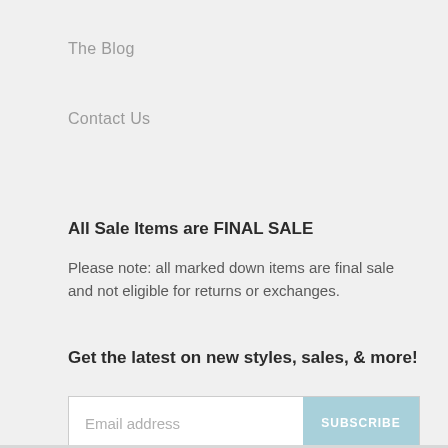The Blog
Contact Us
All Sale Items are FINAL SALE
Please note: all marked down items are final sale and not eligible for returns or exchanges.
Get the latest on new styles, sales, & more!
Email address
SUBSCRIBE